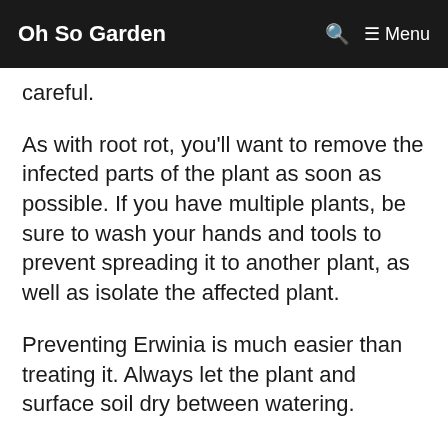Oh So Garden
careful.
As with root rot, you'll want to remove the infected parts of the plant as soon as possible. If you have multiple plants, be sure to wash your hands and tools to prevent spreading it to another plant, as well as isolate the affected plant.
Preventing Erwinia is much easier than treating it. Always let the plant and surface soil dry between watering.